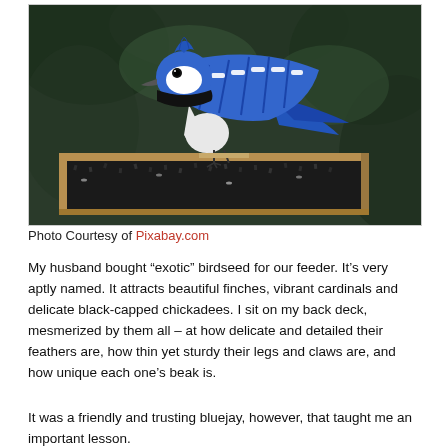[Figure (photo): A blue jay perched on the edge of a wooden bird feeder filled with dark seeds, with green foliage in the background.]
Photo Courtesy of Pixabay.com
My husband bought “exotic” birdseed for our feeder. It’s very aptly named. It attracts beautiful finches, vibrant cardinals and delicate black-capped chickadees. I sit on my back deck, mesmerized by them all – at how delicate and detailed their feathers are, how thin yet sturdy their legs and claws are, and how unique each one’s beak is.
It was a friendly and trusting bluejay, however, that taught me an important lesson.